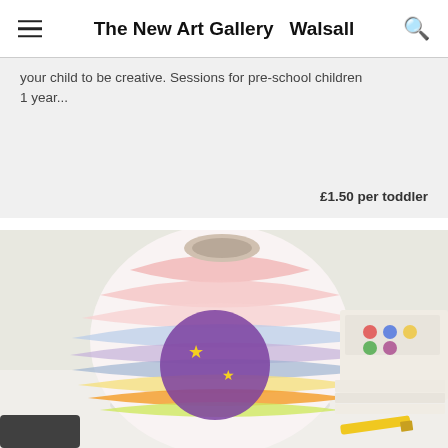The New Art Gallery Walsall
your child to be creative. Sessions for pre-school children 1 year...
£1.50 per toddler
[Figure (photo): A colorful paper lantern decorated with painted stripes in rainbow colors and a purple circle with yellow stars, sitting on a white surface with papers and materials in the background.]